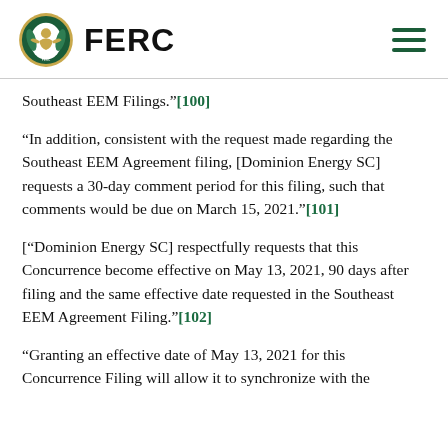FERC
Southeast EEM Filings.”[100]
“In addition, consistent with the request made regarding the Southeast EEM Agreement filing, [Dominion Energy SC] requests a 30-day comment period for this filing, such that comments would be due on March 15, 2021.”[101]
[“Dominion Energy SC] respectfully requests that this Concurrence become effective on May 13, 2021, 90 days after filing and the same effective date requested in the Southeast EEM Agreement Filing.”[102]
“Granting an effective date of May 13, 2021 for this Concurrence Filing will allow it to synchronize with the